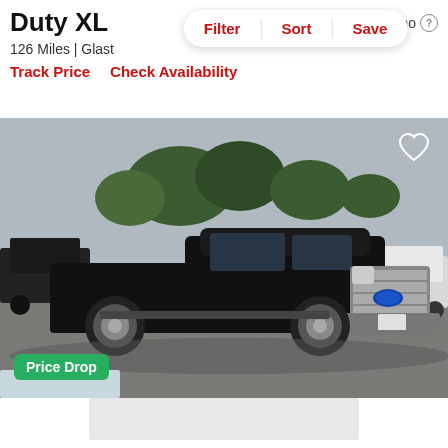Duty XL
est. $1,448/mo
126 Miles | Glast...
Filter  Sort  Save
Track Price    Check Availability
[Figure (photo): Black Ford F-250 Super Duty XL truck parked in a dealer lot with trees and overcast sky in the background. A 'Price Drop' badge appears in the lower left. A heart/save icon appears in the upper right.]
[Figure (other): Grey advertisement placeholder rectangle]